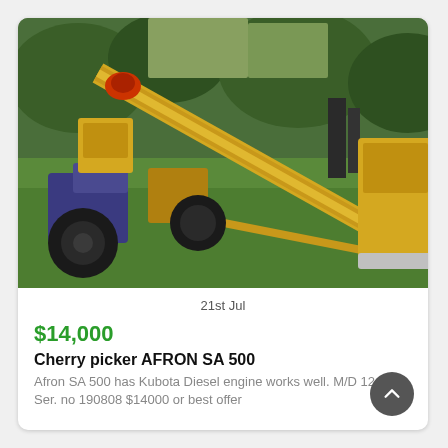[Figure (photo): Outdoor photo of a yellow cherry picker / boom lift crane (AFRON SA 500) on green grass, with trees in background. The long yellow boom arm extends diagonally across the frame.]
21st Jul
$14,000
Cherry picker AFRON SA 500
Afron SA 500 has Kubota Diesel engine works well. M/D 12-1998 Ser. no 190808 $14000 or best offer